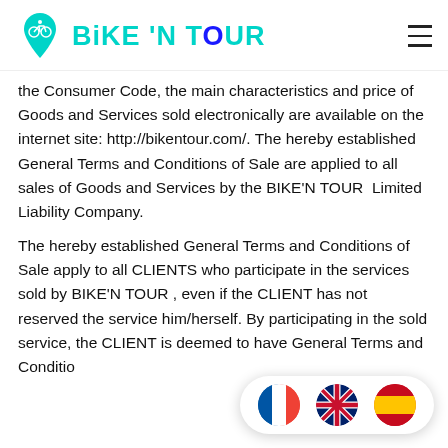BIKE 'N TOUR
the Consumer Code, the main characteristics and price of Goods and Services sold electronically are available on the internet site: http://bikentour.com/. The hereby established General Terms and Conditions of Sale are applied to all sales of Goods and Services by the BIKE'N TOUR  Limited Liability Company.
The hereby established General Terms and Conditions of Sale apply to all CLIENTS who participate in the services sold by BIKE'N TOUR , even if the CLIENT has not reserved the service him/herself. By participating in the sold service, the CLIENT is deemed to have General Terms and Conditions of Sale.
[Figure (other): Language selector bar showing French, UK, and Spanish flag icons]